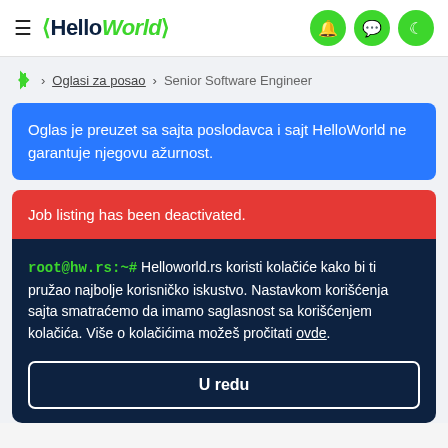≡ HelloWorld 🔔 💬 🌙
Oglasi za posao > Senior Software Engineer
Oglas je preuzet sa sajta poslodavca i sajt HelloWorld ne garantuje njegovu ažurnost.
Job listing has been deactivated.
root@hw.rs:~# Helloworld.rs koristi kolačiće kako bi ti pružao najbolje korisničko iskustvo. Nastavkom korišćenja sajta smatraćemo da imamo saglasnost sa korišćenjem kolačića. Više o kolačićima možeš pročitati ovde.
U redu